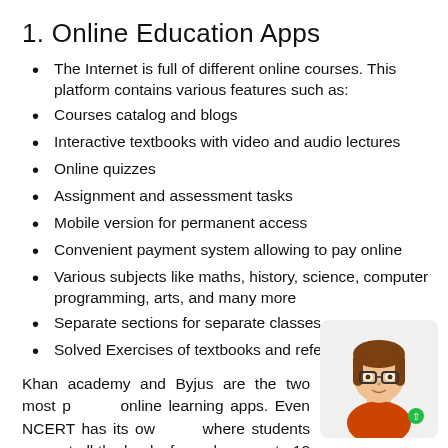1. Online Education Apps
The Internet is full of different online courses. This platform contains various features such as:
Courses catalog and blogs
Interactive textbooks with video and audio lectures
Online quizzes
Assignment and assessment tasks
Mobile version for permanent access
Convenient payment system allowing to pay online
Various subjects like maths, history, science, computer programming, arts, and many more
Separate sections for separate classes
Solved Exercises of textbooks and references
Khan academy and Byjus are the two most popular online learning apps. Even NCERT has its own app where students can get all the books from classes 1 to 12 along with practice questions, previous year papers, and lots of stuff.
[Figure (illustration): Cartoon avatar of a girl with brown hair and glasses wearing an orange turtleneck sweater]